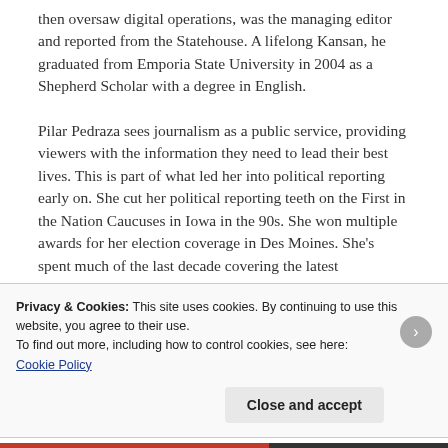then oversaw digital operations, was the managing editor and reported from the Statehouse. A lifelong Kansan, he graduated from Emporia State University in 2004 as a Shepherd Scholar with a degree in English.
Pilar Pedraza sees journalism as a public service, providing viewers with the information they need to lead their best lives. This is part of what led her into political reporting early on. She cut her political reporting teeth on the First in the Nation Caucuses in Iowa in the 90s. She won multiple awards for her election coverage in Des Moines. She's spent much of the last decade covering the latest developments in Kansas politics. In between elections she's covered everything from the Oklahoma
Privacy & Cookies: This site uses cookies. By continuing to use this website, you agree to their use.
To find out more, including how to control cookies, see here: Cookie Policy